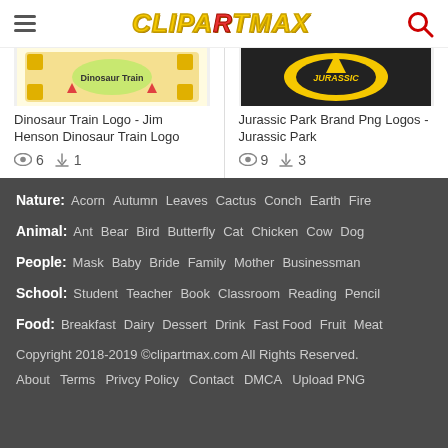CLIPARTMAX (logo) | hamburger menu | search icon
[Figure (screenshot): Dinosaur Train Logo - Jim Henson Dinosaur Train Logo clipart thumbnail with colorful cartoon image]
Dinosaur Train Logo - Jim Henson Dinosaur Train Logo
👁 6  ⬇ 1
[Figure (screenshot): Jurassic Park Brand Png Logos - Jurassic Park clipart thumbnail with yellow/black logo image]
Jurassic Park Brand Png Logos - Jurassic Park
👁 9  ⬇ 3
Nature: Acorn  Autumn  Leaves  Cactus  Conch  Earth  Fire
Animal: Ant  Bear  Bird  Butterfly  Cat  Chicken  Cow  Dog
People: Mask  Baby  Bride  Family  Mother  Businessman
School: Student  Teacher  Book  Classroom  Reading  Pencil
Food: Breakfast  Dairy  Dessert  Drink  Fast Food  Fruit  Meat
Copyright 2018-2019 ©clipartmax.com All Rights Reserved.
About  Terms  Privcy Policy  Contact  DMCA  Upload PNG